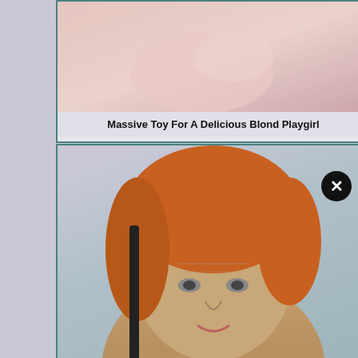[Figure (photo): Top portion of a video thumbnail showing a person lying on a pink surface]
Massive Toy For A Delicious Blond Playgirl
[Figure (photo): Close-up face of a redheaded woman with intense expression against a blue background]
Redhead Masturbating
[Figure (photo): Top of a thumbnail showing a person in pink clothing]